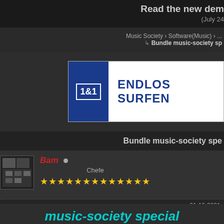Read the new dem... (July 24...
Music Society › Software(Music) › ... Bundle music-society sp
[Figure (advertisement): 1&1 ENDLOS SURFEN advertisement banner with blue 1&1 logo on left and bold blue text ENDLOS SURFEN on white background]
Bundle music-society spe
Bam • Chefe ★★★★★★★★★★★★★
01-10-2021,
music-society special